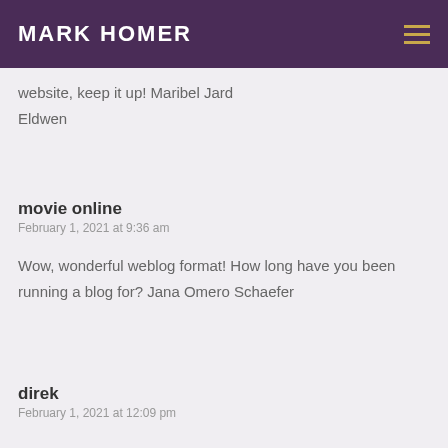MARK HOMER
website, keep it up! Maribel Jard Eldwen
movie online
February 1, 2021 at 9:36 am
Wow, wonderful weblog format! How long have you been running a blog for? Jana Omero Schaefer
direk
February 1, 2021 at 12:09 pm